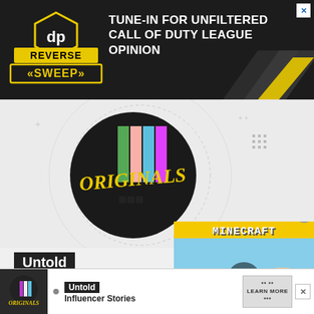[Figure (screenshot): Top advertisement banner: dark background with 'Reverse Sweep' logo on left and text 'TUNE-IN FOR UNFILTERED CALL OF DUTY LEAGUE OPINION' on right, with yellow chevron graphic and close X button]
[Figure (screenshot): TikTok Originals logo on light grey background - circular dark emblem with colorful vertical bars and graffiti-style 'ORIGINALS' text in yellow]
Untold
Influencer Stories
[Figure (screenshot): Minecraft advertisement overlay on yellow background showing Minecraft characters (Alex and Steve) with a play button, 'MINECRAFT' logo at top, and 'MINECRAFT!' label at bottom. Close button in top right.]
[Figure (screenshot): Bottom advertisement strip showing TikTok Originals logo on left, bullet point, 'Untold Influencer Stories' text in middle, and 'LEARN MORE' button with dots icon and close X button on right]